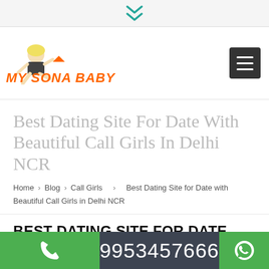[Figure (logo): My Sona Baby website logo with woman figure and orange/red italic bold text 'MY SONA BABY']
Best Dating Site For Date With Beautiful Call Girls In Delhi NCR
Home › Blog › Call Girls › Best Dating Site for Date with Beautiful Call Girls in Delhi NCR
BEST DATING SITE FOR DATE WITH BEAUTIFUL CALL GIRLS IN DELHI NCR
9953457666